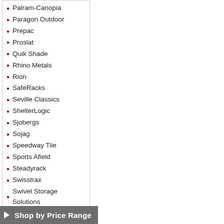Palram-Canopia
Paragon Outdoor
Prepac
Proslat
Quik Shade
Rhino Metals
Rion
SafeRacks
Seville Classics
ShelterLogic
Sjobergs
Sojag
Speedway Tile
Sports Afield
Steadyrack
Swisstrax
Swivel Storage Solutions
Tortuga Outdoor
Trinity
Ulti-MATE Garage Cabinets
Vyper Industrial
Winchester Safes
Workshop Vacs
Yardistry
Shop by Price Range